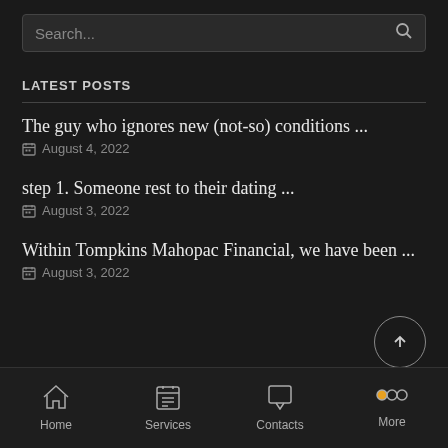Search...
LATEST POSTS
The guy who ignores new (not-so) conditions ...
August 4, 2022
step 1. Someone rest to their dating ...
August 3, 2022
Within Tompkins Mahopac Financial, we have been ...
August 3, 2022
Home | Services | Contacts | More